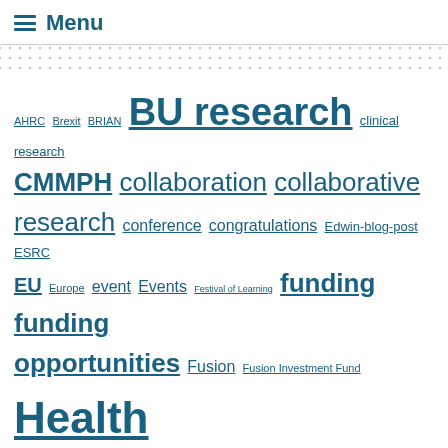Menu
[Figure (other): Dotted background decorative area]
AHRC Brexit BRIAN BU research clinical research CMMPH collaboration collaborative research conference congratulations Edwin-blog-post ESRC EU Europe event Events Festival of Learning funding funding opportunities Fusion Fusion Investment Fund Health horizon 2020 HSC impact innovation knowledge exchange media midwifery Nepal nhs NIHR open access Prof. Edwin van Teijlingen publication public engagement publishing ref research Research Councils research professional RKE development framework social sciences